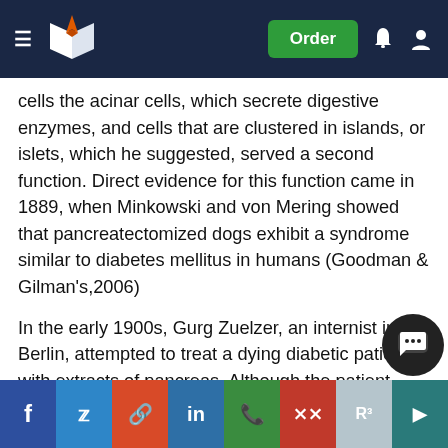Order
cells the acinar cells, which secrete digestive enzymes, and cells that are clustered in islands, or islets, which he suggested, served a second function. Direct evidence for this function came in 1889, when Minkowski and von Mering showed that pancreatectomized dogs exhibit a syndrome similar to diabetes mellitus in humans (Goodman & Gilman's,2006)
In the early 1900s, Gurg Zuelzer, an internist in Berlin, attempted to treat a dying diabetic patient with extracts of pancreas. Although the patient improved temporarily, he sank back into a coma and died when the supply of extract was exhausted. E.L. Scott, a student at the University of Chicago, made another early attempt to isolate an active principle in 1911. Using alcoholic extracts of the pancreas Scott treated he… promising results; however, he lacked clear measures of control of